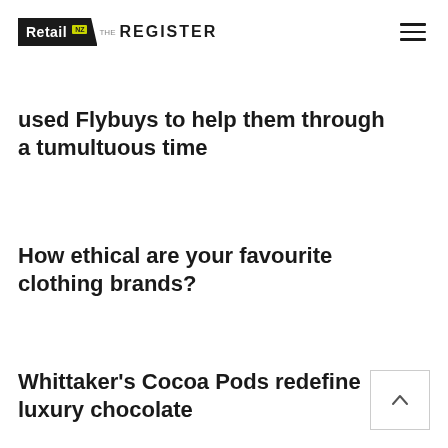Retail NZ THE REGISTER
used Flybuys to help them through a tumultuous time
How ethical are your favourite clothing brands?
Whittaker's Cocoa Pods redefine luxury chocolate